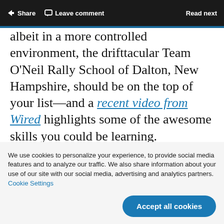Share  Leave comment  Read next
albeit in a more controlled environment, the drifttacular Team O’Neil Rally School of Dalton, New Hampshire, should be on the top of your list—and a recent video from Wired highlights some of the awesome skills you could be learning.
We use cookies to personalize your experience, to provide social media features and to analyze our traffic. We also share information about your use of our site with our social media, advertising and analytics partners. Cookie Settings
Accept all cookies